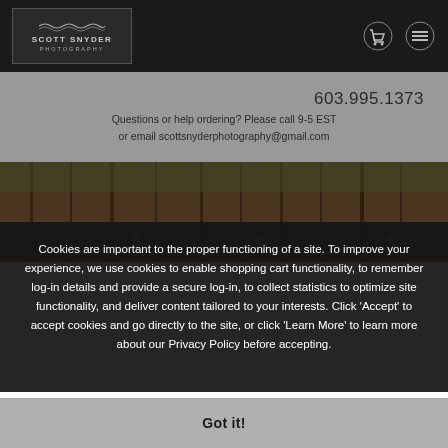Scott Snyder Photography — navigation header with logo, cart icon, and menu icon
603.995.1373
Questions or help ordering? Please call 9-5 EST
or email scottsnyderphotography@gmail.com
[Figure (photo): Horizontal strip photograph of a forest scene with bare trees and autumn leaves on the ground, brown/dark tones]
Cookies are important to the proper functioning of a site. To improve your experience, we use cookies to enable shopping cart functionality, to remember log-in details and provide a secure log-in, to collect statistics to optimize site functionality, and deliver content tailored to your interests. Click 'Accept' to accept cookies and go directly to the site, or click 'Learn More' to learn more about our Privacy Policy before accepting.
Got it!